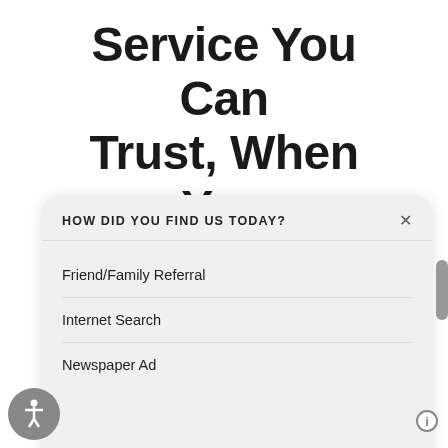Service You Can Trust, When You Need It
HOW DID YOU FIND US TODAY?
Friend/Family Referral
Internet Search
Newspaper Ad
Other (please specify)